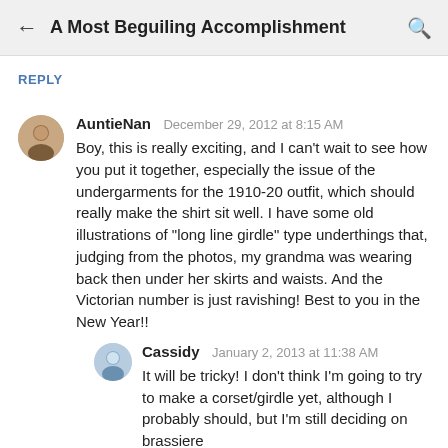A Most Beguiling Accomplishment
REPLY
AuntieNan  December 29, 2012 at 8:15 AM
Boy, this is really exciting, and I can't wait to see how you put it together, especially the issue of the undergarments for the 1910-20 outfit, which should really make the shirt sit well. I have some old illustrations of "long line girdle" type underthings that, judging from the photos, my grandma was wearing back then under her skirts and waists. And the Victorian number is just ravishing! Best to you in the New Year!!
Cassidy  January 2, 2013 at 11:38 AM
It will be tricky! I don't think I'm going to try to make a corset/girdle yet, although I probably should, but I'm still deciding on brassiere